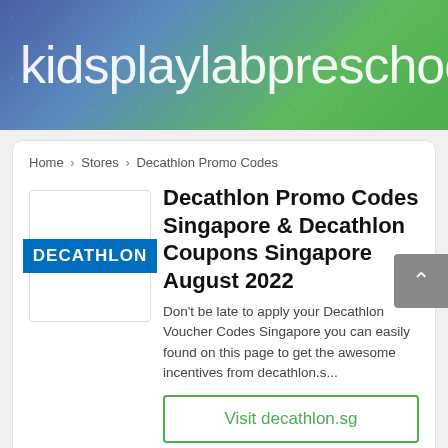kidsplaylabpreschoo
Home > Stores > Decathlon Promo Codes
Decathlon Promo Codes Singapore & Decathlon Coupons Singapore August 2022
[Figure (logo): Decathlon logo — white text on blue background]
Don't be late to apply your Decathlon Voucher Codes Singapore you can easily found on this page to get the awesome incentives from decathlon.s...
Visit decathlon.sg